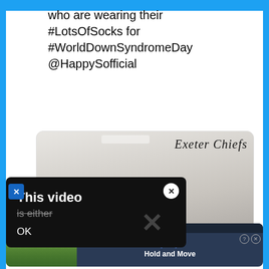who are wearing their #LotsOfSocks for #WorldDownSyndromeDay @HappySofficial
[Figure (photo): Exeter Chiefs rugby players in a gym wearing colourful socks, with 'Exeter Chiefs' script text overlay and '#LotsOfSocks' script at bottom, with a video error dialog overlay reading 'This video is either... OK']
[Figure (screenshot): Bottom advertisement banner showing 'Hold and Move' game or app ad with trees background on left and dark blue panel with figure icons on right]